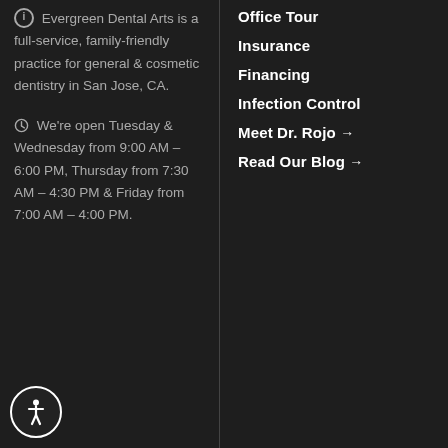ℹ Evergreen Dental Arts is a full-service, family-friendly practice for general & cosmetic dentistry in San Jose, CA.
🕐 We're open Tuesday & Wednesday from 9:00 AM – 6:00 PM, Thursday from 7:30 AM – 4:30 PM & Friday from 7:00 AM – 4:00 PM.
Office Tour
Insurance
Financing
Infection Control
Meet Dr. Rojo →
Read Our Blog →